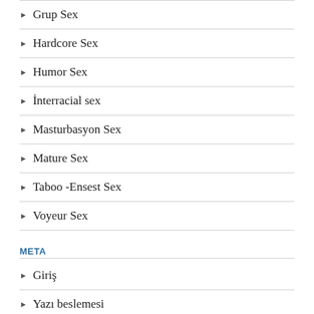Grup Sex
Hardcore Sex
Humor Sex
İnterracial sex
Masturbasyon Sex
Mature Sex
Taboo -Ensest Sex
Voyeur Sex
META
Giriş
Yazı beslemesi
Yorum beslemesi